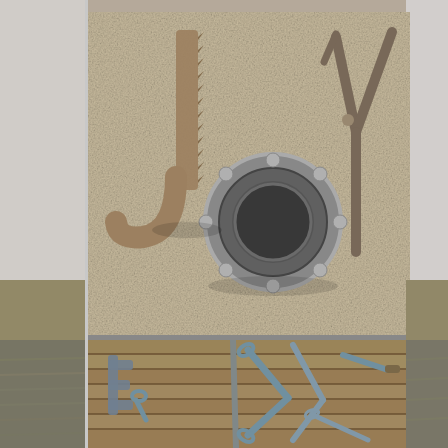[Figure (photo): Top photo: A rusty saw blade curved into the letter J shape on the left, a ball bearing ring forming the letter O in the center, and a pair of pliers forming the letter Y on the right, all arranged on a beige concrete/carpet surface to spell JOY]
[Figure (photo): Bottom photo: Various hand tools (wrenches, pliers, screwdrivers, a long file/rod) arranged on a wooden slatted surface to spell letters, partially visible]